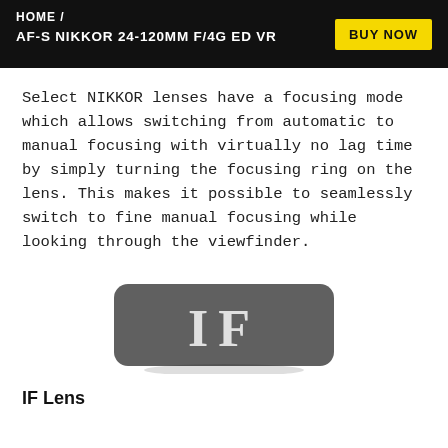HOME / AF-S NIKKOR 24-120MM F/4G ED VR
Select NIKKOR lenses have a focusing mode which allows switching from automatic to manual focusing with virtually no lag time by simply turning the focusing ring on the lens. This makes it possible to seamlessly switch to fine manual focusing while looking through the viewfinder.
[Figure (logo): Dark rounded rectangle badge with large white serif letters 'IF' on a gray background]
IF Lens